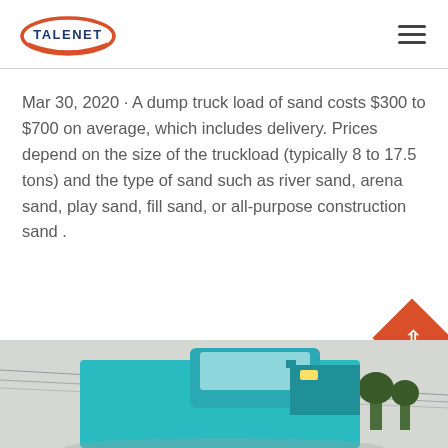[Figure (logo): Talenet logo with red swoosh oval and blue TALENET text]
Mar 30, 2020 · A dump truck load of sand costs $300 to $700 on average, which includes delivery. Prices depend on the size of the truckload (typically 8 to 17.5 tons) and the type of sand such as river sand, arena sand, play sand, fill sand, or all-purpose construction sand .
Learn More
[Figure (photo): Partial view of a teal/turquoise dump truck from below with power lines and trees in the background]